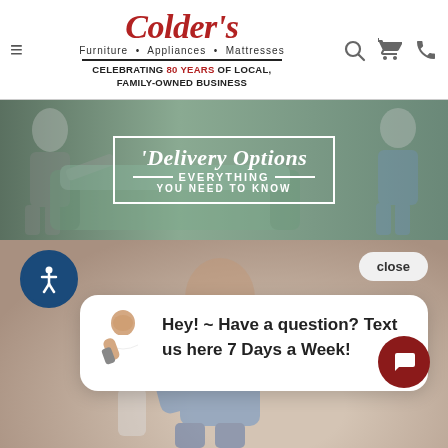[Figure (screenshot): Colder's website header with logo, navigation hamburger icon, search, cart, and phone icons]
[Figure (photo): Banner image showing two people moving a sofa with text 'Delivery Options EVERYTHING YOU NEED TO KNOW']
[Figure (photo): Lower background photo of person on phone smiling, partially visible]
Hey! ~ Have a question? Text us here 7 Days a Week!